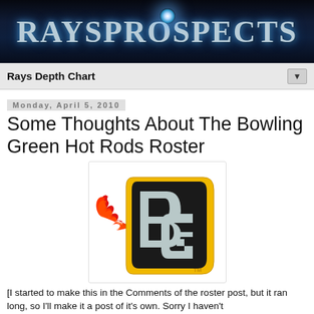[Figure (logo): RaysProspects website header banner with metallic blue text on dark navy background with star glow effect]
Rays Depth Chart
Monday, April 5, 2010
Some Thoughts About The Bowling Green Hot Rods Roster
[Figure (logo): Bowling Green Hot Rods logo — stylized BG letters in silver/gray with gold outline and red flames shooting from the left side, with TM mark]
[I started to make this in the Comments of the roster post, but it ran long, so I'll make it a post of it's own. Sorry I haven't been posting much lately...